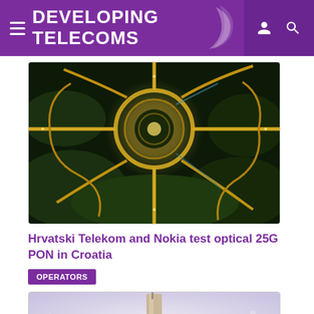DEVELOPING TELECOMS
[Figure (photo): Aerial night view of a complex highway interchange with illuminated roads forming circular and curved patterns, surrounded by green areas.]
Hrvatski Telekom and Nokia test optical 25G PON in Croatia
OPERATORS
[Figure (photo): Partial view of a telecommunications tower or antenna against a light background with subtle bokeh dots.]